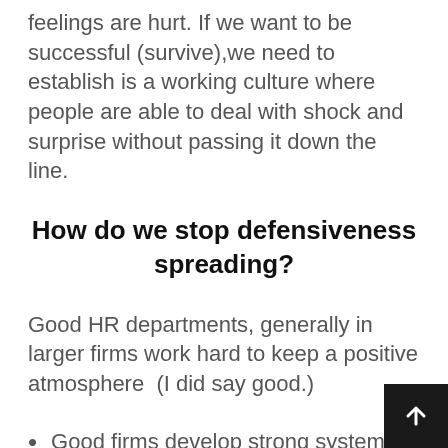feelings are hurt. If we want to be successful (survive),we need to establish is a working culture where people are able to deal with shock and surprise without passing it down the line.
How do we stop defensiveness spreading?
Good HR departments, generally in larger firms work hard to keep a positive atmosphere  (I did say good.)
Good firms develop strong systems to minimize the management by whim. The reason they do that is to remove the objective threat to one's employment that accompanies disagreements.  When there is no objective threat, then people can attend to mending their fences.  Good firms